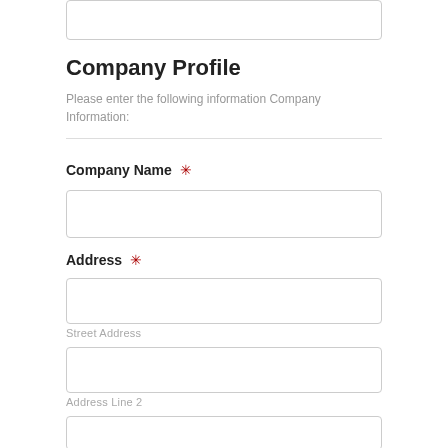Company Profile
Please enter the following information Company Information:
Company Name *
Address *
Street Address
Address Line 2